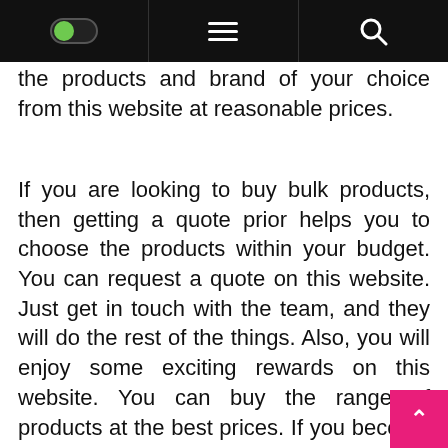[navigation bar with toggle, hamburger menu, and search icon]
the products and brand of your choice from this website at reasonable prices.
If you are looking to buy bulk products, then getting a quote prior helps you to choose the products within your budget. You can request a quote on this website. Just get in touch with the team, and they will do the rest of the things. Also, you will enjoy some exciting rewards on this website. You can buy the range of products at the best prices. If you become a member of this online store, you will be rewarded based on your purchase. So, you can make a purchase at any time. To enjoy these perks, visit their website and explore products to purchase for your work.